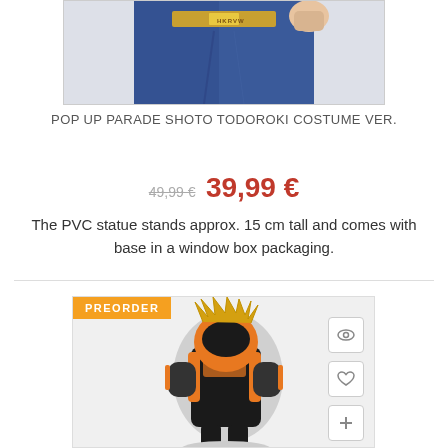[Figure (photo): Partial view of a PVC figure showing blue pants with a gold/metallic belt buckle area, cropped at the top of the page.]
POP UP PARADE SHOTO TODOROKI COSTUME VER.
49,99 € 39,99 €
The PVC statue stands approx. 15 cm tall and comes with base in a window box packaging.
[Figure (photo): Product card for an anime figure with PREORDER badge in orange. Shows an orange and black armored figure with spiky yellow/golden hair (Katsuki Bakugo). Action buttons for view, wishlist, and add to cart on the right side.]